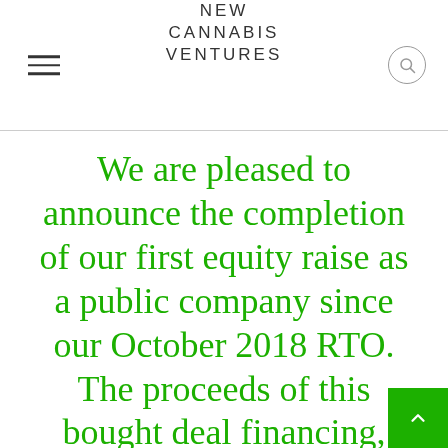NEW CANNABIS VENTURES
We are pleased to announce the completion of our first equity raise as a public company since our October 2018 RTO. The proceeds of this bought deal financing, combined with the recently announced $102.7 million backstop commitment,